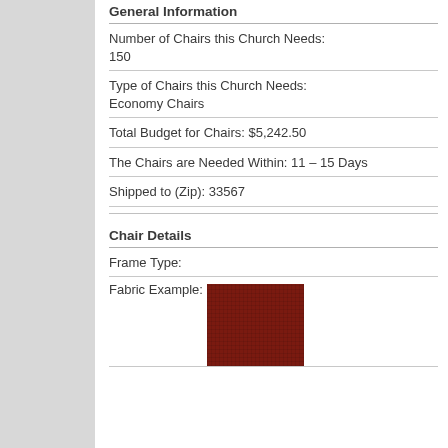General Information
Number of Chairs this Church Needs: 150
Type of Chairs this Church Needs: Economy Chairs
Total Budget for Chairs: $5,242.50
The Chairs are Needed Within: 11 – 15 Days
Shipped to (Zip): 33567
Chair Details
Frame Type:
Fabric Example:
[Figure (photo): Dark red/burgundy fabric swatch showing woven texture]